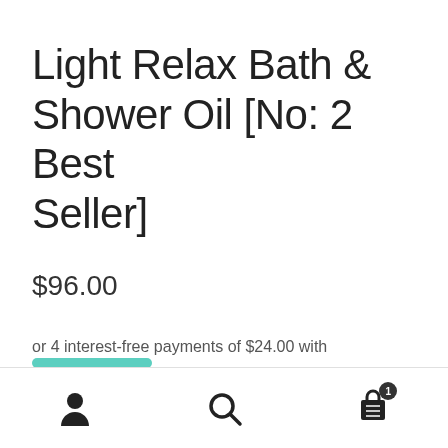Light Relax Bath & Shower Oil [No: 2 Best Seller]
$96.00
or 4 interest-free payments of $24.00 with